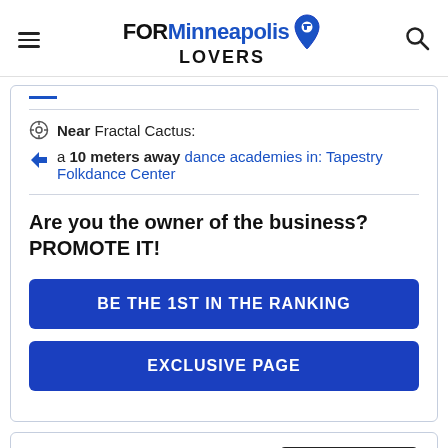FOR Minneapolis LOVERS
Near Fractal Cactus:
a 10 meters away dance academies in: Tapestry Folkdance Center
Are you the owner of the business? PROMOTE IT!
BE THE 1ST IN THE RANKING
EXCLUSIVE PAGE
7. Mother Co., Plants
LEAVE AN OPINION